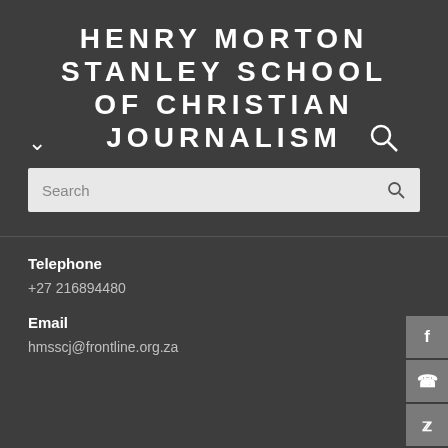HENRY MORTON STANLEY SCHOOL OF CHRISTIAN JOURNALISM
[Figure (screenshot): Search bar with placeholder text 'Search' and a magnifying glass icon on the right]
Telephone
+27 216894480
Email
hmsscj@frontline.org.za